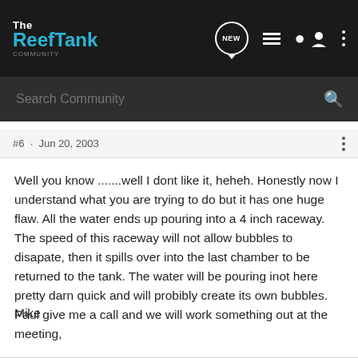The Reef Tank
Search Community
#6 · Jun 20, 2003
Well you know .......well I dont like it, heheh. Honestly now I understand what you are trying to do but it has one huge flaw. All the water ends up pouring into a 4 inch raceway. The speed of this raceway will not allow bubbles to disapate, then it spills over into the last chamber to be returned to the tank. The water will be pouring inot here pretty darn quick and will probibly create its own bubbles. Paul give me a call and we will work something out at the meeting,
Mike